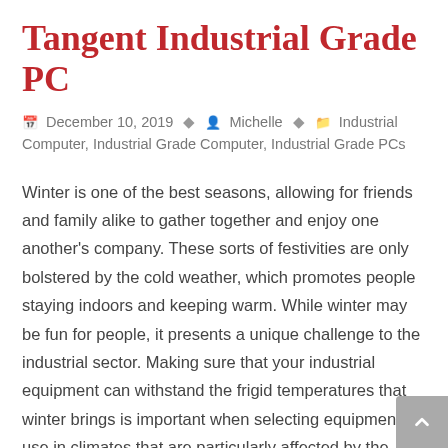Tangent Industrial Grade PC
December 10, 2019  Michelle  Industrial Computer, Industrial Grade Computer, Industrial Grade PCs
Winter is one of the best seasons, allowing for friends and family alike to gather together and enjoy one another's company. These sorts of festivities are only bolstered by the cold weather, which promotes people staying indoors and keeping warm. While winter may be fun for people, it presents a unique challenge to the industrial sector. Making sure that your industrial equipment can withstand the frigid temperatures that winter brings is important when selecting equipment for use in climates that are particularly affected by the seasonal change. Upgrading industrial equipment, such as industrial grade PCs, before the onset of winter can